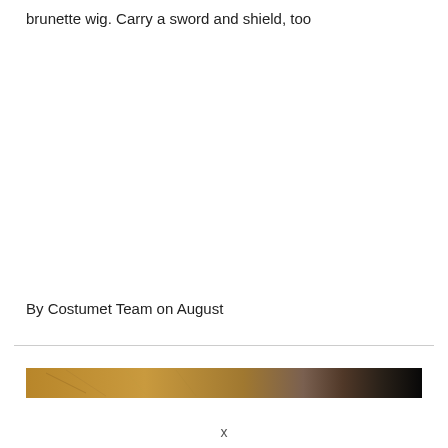brunette wig. Carry a sword and shield, too
By Costumet Team on August
[Figure (photo): A decorative image strip showing a textured brownish/golden artwork or painting, partially dark on the right side.]
x